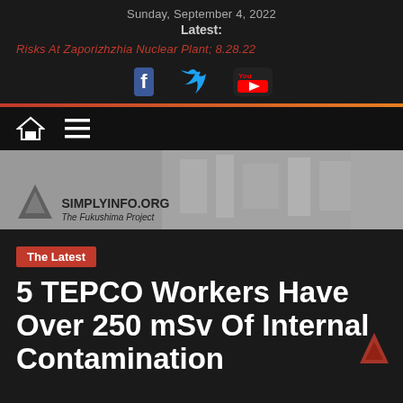Sunday, September 4, 2022
Latest:
Risks At Zaporizhzhia Nuclear Plant; 8.28.22
[Figure (logo): Social media icons: Facebook, Twitter, YouTube]
[Figure (logo): Navigation bar with home icon and hamburger menu icon]
[Figure (logo): SimplyInfo.org – The Fukushima Project website banner with aerial nuclear plant background]
The Latest
5 TEPCO Workers Have Over 250 mSv Of Internal Contamination